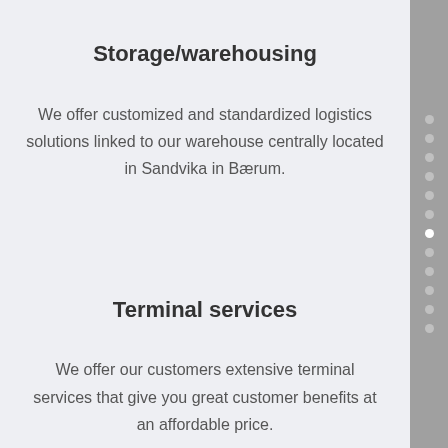Storage/warehousing
We offer customized and standardized logistics solutions linked to our warehouse centrally located in Sandvika in Bærum.
Terminal services
We offer our customers extensive terminal services that give you great customer benefits at an affordable price.